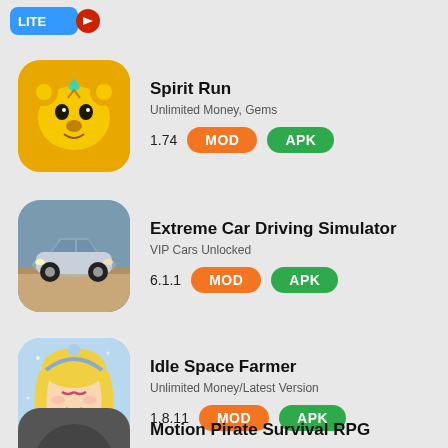[Figure (screenshot): Partial app icon at top left (LITE logo, blue/orange)]
[Figure (illustration): Spirit Run app icon - golden bear face]
Spirit Run
Unlimited Money, Gems
1.74   MOD   APK
[Figure (screenshot): Extreme Car Driving Simulator app icon - silver sports car]
Extreme Car Driving Simulator
VIP Cars Unlocked
6.1.1   MOD   APK
[Figure (illustration): Idle Space Farmer app icon - anime blonde girl]
Idle Space Farmer
Unlimited Money/Latest Version
1.8.11   MOD   APK
[Figure (screenshot): Partial app icon at bottom (dark circular icon)]
Motion Pirate Survival RPG